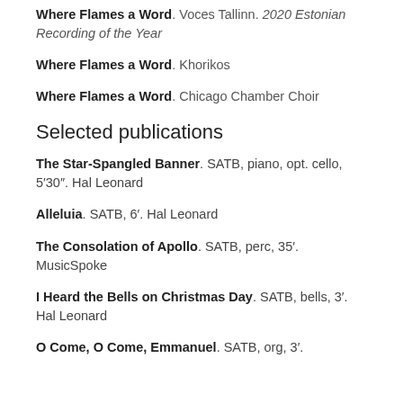Where Flames a Word. Voces Tallinn. 2020 Estonian Recording of the Year
Where Flames a Word. Khorikos
Where Flames a Word. Chicago Chamber Choir
Selected publications
The Star-Spangled Banner. SATB, piano, opt. cello, 5′30″. Hal Leonard
Alleluia. SATB, 6′. Hal Leonard
The Consolation of Apollo. SATB, perc, 35′. MusicSpoke
I Heard the Bells on Christmas Day. SATB, bells, 3′. Hal Leonard
O Come, O Come, Emmanuel. SATB, org, 3′.